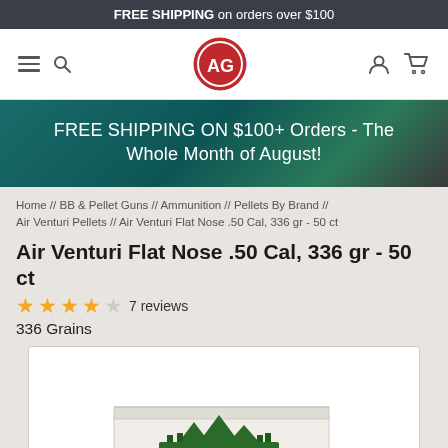FREE SHIPPING on orders over $100
[Figure (logo): AG (Airgun Depot) circular logo in red and white, with navigation icons (hamburger menu, search, user, cart)]
FREE SHIPPING ON $100+ Orders - The Whole Month of August!
Home // BB & Pellet Guns // Ammunition // Pellets By Brand // Air Venturi Pellets // Air Venturi Flat Nose .50 Cal, 336 gr - 50 ct
Air Venturi Flat Nose .50 Cal, 336 gr - 50 ct
★★★★☆ 7 reviews
336 Grains
[Figure (photo): Product image: a white cardboard box with the Air Venturi logo (green mountain/forest silhouette) partially visible at the bottom of the frame]